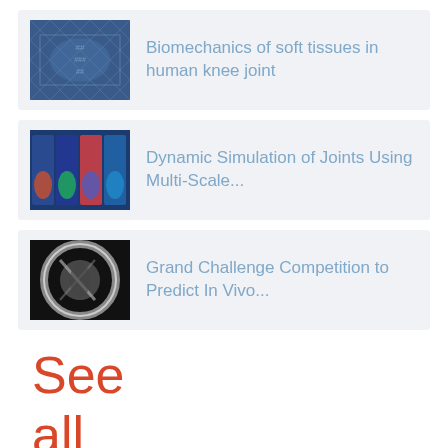[Figure (other): Card with thumbnail image of a blue digital/biomechanics graphic and text: Biomechanics of soft tissues in human knee joint]
Biomechanics of soft tissues in human knee joint
[Figure (other): Card with thumbnail image of a multi-panel joint simulation graphic on blue background and text: Dynamic Simulation of Joints Using Multi-Scale...]
Dynamic Simulation of Joints Using Multi-Scale...
[Figure (other): Card with thumbnail grayscale X-ray image of a knee joint and text: Grand Challenge Competition to Predict In Vivo...]
Grand Challenge Competition to Predict In Vivo...
See all